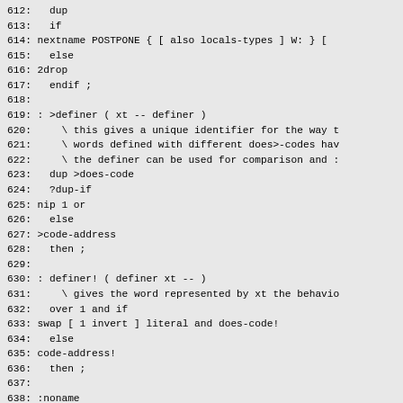612:   dup
613:   if
614: nextname POSTPONE { [ also locals-types ] W: } [
615:   else
616: 2drop
617:   endif ;
618:
619: : >definer ( xt -- definer )
620:     \ this gives a unique identifier for the way t
621:     \ words defined with different does>-codes hav
622:     \ the definer can be used for comparison and :
623:   dup >does-code
624:   ?dup-if
625: nip 1 or
626:   else
627: >code-address
628:   then ;
629:
630: : definer! ( definer xt -- )
631:     \ gives the word represented by xt the behavio
632:   over 1 and if
633: swap [ 1 invert ] literal and does-code!
634:   else
635: code-address!
636:   then ;
637:
638: :noname
639:     ' dup >definer [ ' locals-wordlist ] literal >
640:   if
641: >body !
642:   else